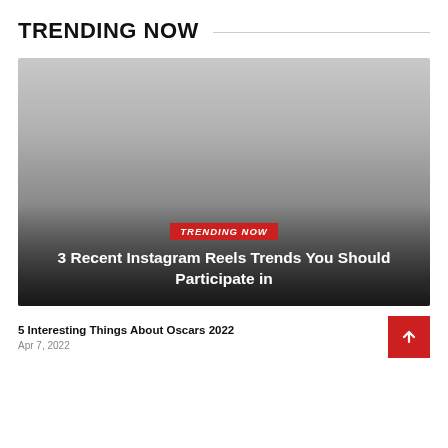TRENDING NOW
[Figure (photo): Large hero image with gradient overlay showing a dark-to-light gray gradient background with a red 'TRENDING NOW' tag and bold white article title text overlaid at the bottom]
3 Recent Instagram Reels Trends You Should Participate in
5 Interesting Things About Oscars 2022
Apr 7, 2022